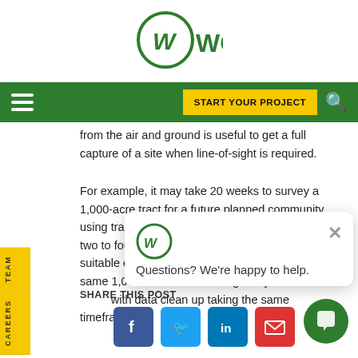[Figure (logo): WGI company logo - circular W mark with WGI text in green]
[Figure (screenshot): Green navigation bar with hamburger menu, START YOUR PROJECT yellow button, and search icon]
from the air and ground is useful to get a full capture of a site when line-of-sight is required.
For example, it may take 20 weeks to survey a 1,000-acre tract for a future planned community using traditional surveying methods, followed by two to four weeks to clean up the data into a suitable existing-conditions base f[or mapping]. The same 1,000-acre t[ract can be captured] in a single day on [a drone flight], with data clean up taking the same timeframe
SHARE THIS POST
[Figure (screenshot): Social media share buttons: Facebook (blue), Twitter (blue), LinkedIn (blue), Email (red)]
[Figure (screenshot): Chat popup widget with WGI logo and text: Questions? We're happy to help. With close X button and green chat FAB button]